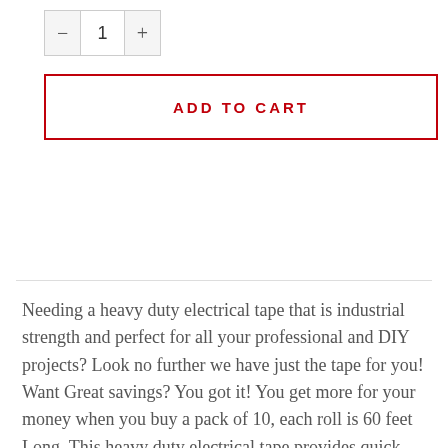[Figure (other): Quantity selector widget showing minus button, value '1', and plus button]
ADD TO CART
Needing a heavy duty electrical tape that is industrial strength and perfect for all your professional and DIY projects? Look no further we have just the tape for you! Want Great savings? You got it! You get more for your money when you buy a pack of 10, each roll is 60 feet Long. This heavy duty electrical tape provides quick insulation for any wiring job. Also, this tape conforms to sharp